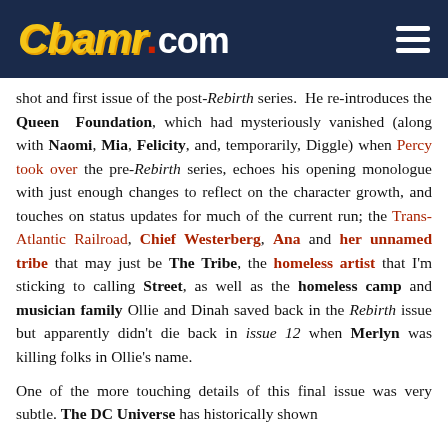CBAMR.COM
shot and first issue of the post-Rebirth series. He re-introduces the Queen Foundation, which had mysteriously vanished (along with Naomi, Mia, Felicity, and, temporarily, Diggle) when Percy took over the pre-Rebirth series, echoes his opening monologue with just enough changes to reflect on the character growth, and touches on status updates for much of the current run; the Trans-Atlantic Railroad, Chief Westerberg, Ana and her unnamed tribe that may just be The Tribe, the homeless artist that I'm sticking to calling Street, as well as the homeless camp and musician family Ollie and Dinah saved back in the Rebirth issue but apparently didn't die back in issue 12 when Merlyn was killing folks in Ollie's name.
One of the more touching details of this final issue was very subtle. The DC Universe has historically shown